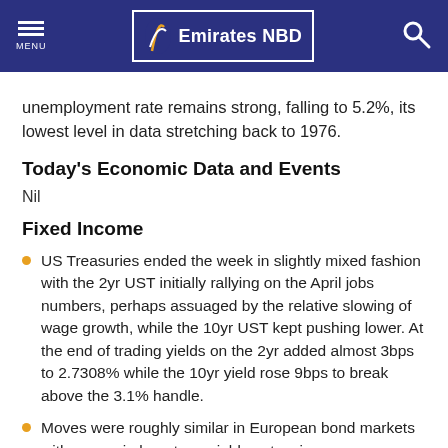Emirates NBD
unemployment rate remains strong, falling to 5.2%, its lowest level in data stretching back to 1976.
Today's Economic Data and Events
Nil
Fixed Income
US Treasuries ended the week in slightly mixed fashion with the 2yr UST initially rallying on the April jobs numbers, perhaps assuaged by the relative slowing of wage growth, while the 10yr UST kept pushing lower. At the end of trading yields on the 2yr added almost 3bps to 2.7308% while the 10yr yield rose 9bps to break above the 3.1% handle.
Moves were roughly similar in European bond markets with moves in long-term yields outpacing